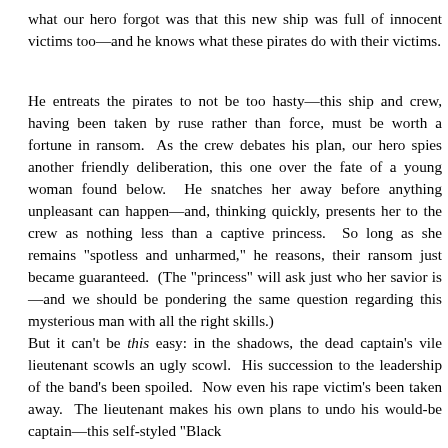what our hero forgot was that this new ship was full of innocent victims too—and he knows what these pirates do with their victims.
He entreats the pirates to not be too hasty—this ship and crew, having been taken by ruse rather than force, must be worth a fortune in ransom. As the crew debates his plan, our hero spies another friendly deliberation, this one over the fate of a young woman found below. He snatches her away before anything unpleasant can happen—and, thinking quickly, presents her to the crew as nothing less than a captive princess. So long as she remains "spotless and unharmed," he reasons, their ransom just became guaranteed. (The "princess" will ask just who her savior is—and we should be pondering the same question regarding this mysterious man with all the right skills.)
But it can't be this easy: in the shadows, the dead captain's vile lieutenant scowls an ugly scowl. His succession to the leadership of the band's been spoiled. Now even his rape victim's been taken away. The lieutenant makes his own plans to undo his would-be captain—this self-styled "Black